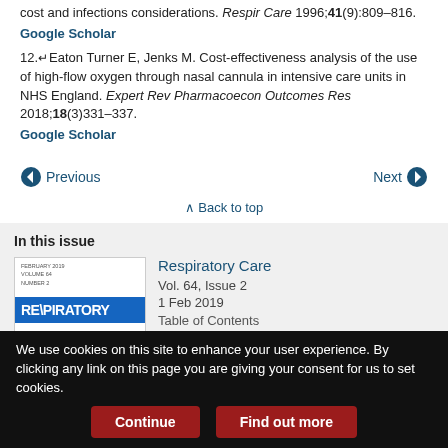cost and infections considerations. Respir Care 1996;41(9):809–816.
Google Scholar
12.↵ Eaton Turner E, Jenks M. Cost-effectiveness analysis of the use of high-flow oxygen through nasal cannula in intensive care units in NHS England. Expert Rev Pharmacoecon Outcomes Res 2018;18(3)331–337.
Google Scholar
← Previous   Next →
↑ Back to top
In this issue
[Figure (photo): Cover of Respiratory Care journal, Vol. 64 Issue 2, showing blue banner with RESPIRATORY text]
Respiratory Care
Vol. 64, Issue 2
1 Feb 2019
Table of Contents
We use cookies on this site to enhance your user experience. By clicking any link on this page you are giving your consent for us to set cookies.